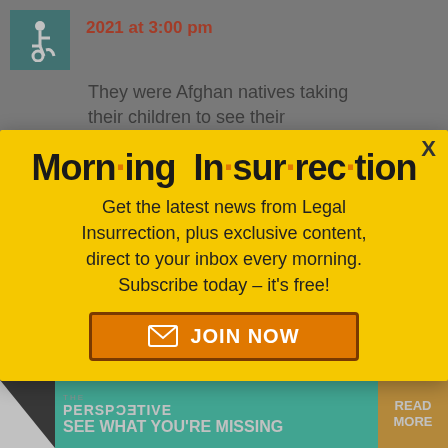2021 at 3:00 pm
They were Afghan natives taking their children to see their
[Figure (screenshot): Modal popup with yellow background showing Morning Insurrection newsletter signup. Title reads 'Morn·ing In·sur·rec·tion'. Body text: 'Get the latest news from Legal Insurrection, plus exclusive content, direct to your inbox every morning. Subscribe today – it's free!' with a JOIN NOW button.]
So then, Chris Wilson – ver liar.
[Figure (screenshot): Perspective banner at bottom: THE PERSPECTIVE - SEE WHAT YOU'RE MISSING - READ MORE]